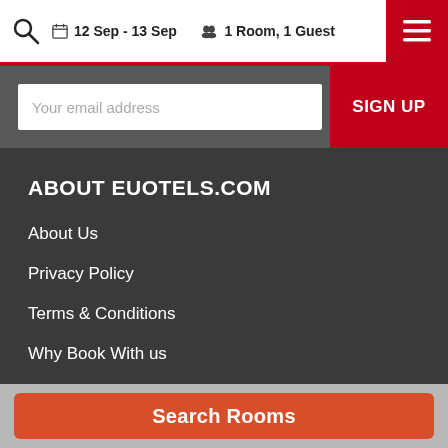12 Sep - 13 Sep  1 Room, 1 Guest
Your email address
SIGN UP
ABOUT EUOTELS.COM
About Us
Privacy Policy
Terms & Conditions
Why Book With us
Earn Loyalty Points
Sitemap
Search Rooms